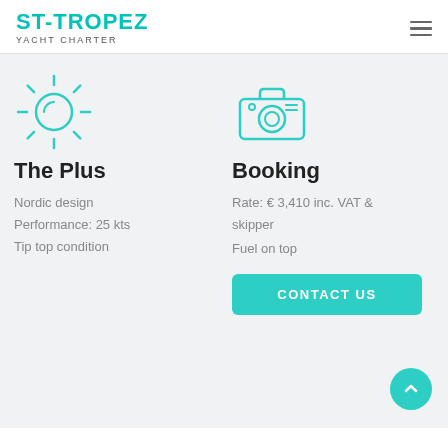ST-TROPEZ YACHT CHARTER
[Figure (illustration): Teal sun icon with rays]
The Plus
Nordic design
Performance: 25 kts
Tip top condition
[Figure (illustration): Teal camera icon]
Booking
Rate: € 3,410 inc. VAT & skipper
Fuel on top
CONTACT US